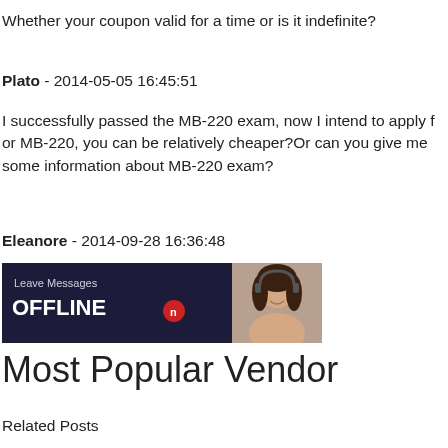Whether your coupon valid for a time or is it indefinite?
Plato - 2014-05-05 16:45:51
I successfully passed the MB-220 exam, now I intend to apply for MB-220, you can be relatively cheaper?Or can you give me some information about MB-220 exam?
Eleanore - 2014-09-28 16:36:48
[Figure (screenshot): Live chat widget showing 'Leave Messages OFFLINE' button with an image of a woman wearing a headset]
Most Popular Vendor
Related Posts